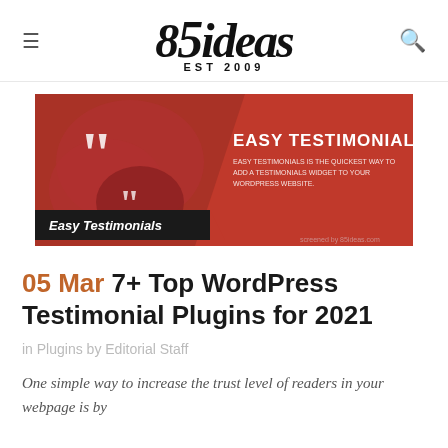85ideas EST 2009
[Figure (screenshot): Easy Testimonials WordPress plugin banner — dark red/maroon background with speech bubble icons showing quotation marks on the left and white text 'EASY TESTIMONIALS' on the right with subtitle text. A black label reads 'Easy Testimonials' at the bottom left. Bottom-right watermark: '85ideas.com']
05 Mar 7+ Top WordPress Testimonial Plugins for 2021
in Plugins by Editorial Staff
One simple way to increase the trust level of readers in your webpage is by